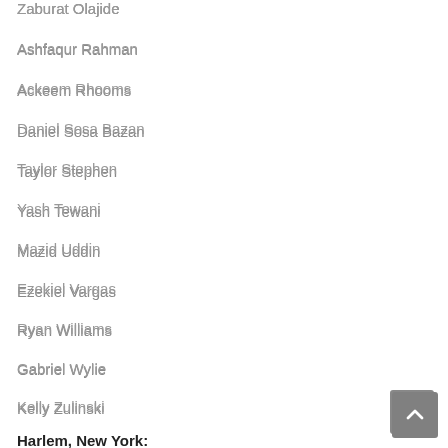Zaburat Olajide
Ashfaqur Rahman
Ackeem Rhooms
Daniel Sosa Bazan
Taylor Stephen
Yash Tewani
Mazid Uddin
Ezekiel Vargas
Ryan Williams
Gabriel Wylie
Kelly Zulinski
Harlem, New York:
Mohamed A Hassan